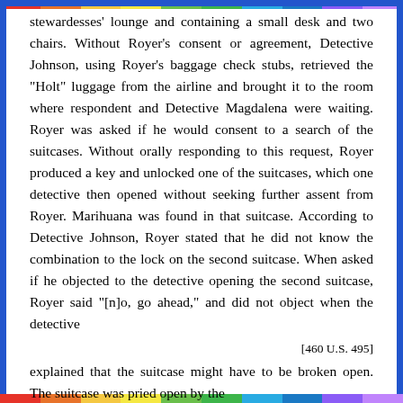stewardesses' lounge and containing a small desk and two chairs. Without Royer's consent or agreement, Detective Johnson, using Royer's baggage check stubs, retrieved the "Holt" luggage from the airline and brought it to the room where respondent and Detective Magdalena were waiting. Royer was asked if he would consent to a search of the suitcases. Without orally responding to this request, Royer produced a key and unlocked one of the suitcases, which one detective then opened without seeking further assent from Royer. Marihuana was found in that suitcase. According to Detective Johnson, Royer stated that he did not know the combination to the lock on the second suitcase. When asked if he objected to the detective opening the second suitcase, Royer said "[n]o, go ahead," and did not object when the detective
[460 U.S. 495]
explained that the suitcase might have to be broken open. The suitcase was pried open by the